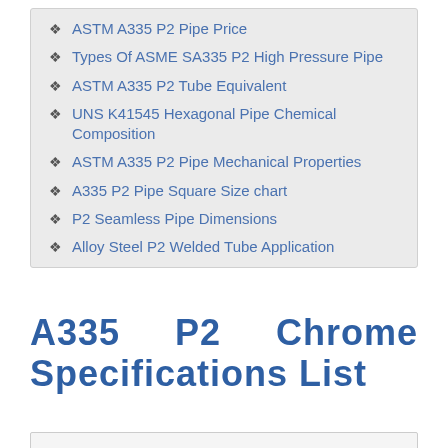ASTM A335 P2 Pipe Price
Types Of ASME SA335 P2 High Pressure Pipe
ASTM A335 P2 Tube Equivalent
UNS K41545 Hexagonal Pipe Chemical Composition
ASTM A335 P2 Pipe Mechanical Properties
A335 P2 Pipe Square Size chart
P2 Seamless Pipe Dimensions
Alloy Steel P2 Welded Tube Application
A335 P2 Chrome Pipe Specifications List